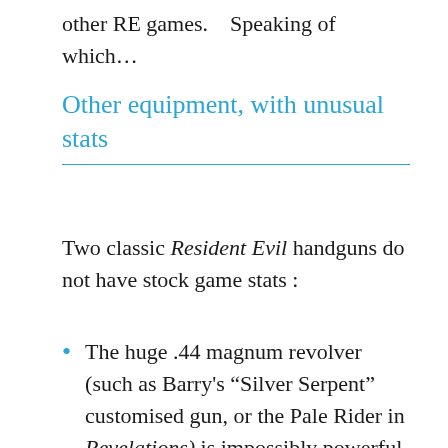other RE games.    Speaking of which…
Other equipment, with unusual stats
Two classic Resident Evil handguns do not have stock game stats :
The huge .44 magnum revolver (such as Barry's “Silver Serpent” customised gun, or the Pale Rider in Revelations) is impossibly powerful – [BODY 04, Projectile weapons: 08, Range: 05,